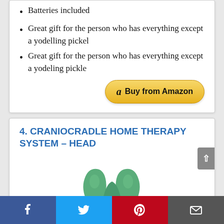Batteries included
Great gift for the person who has everything except a yodelling pickel
Great gift for the person who has everything except a yodeling pickle
[Figure (other): Buy from Amazon button with Amazon logo]
4. CRANIOCRADLE HOME THERAPY SYSTEM – HEAD
[Figure (photo): Green craniocradle head therapy device, shaped like a curved ergonomic support]
[Figure (other): Social media share bar with Facebook, Twitter, Pinterest, and email buttons]